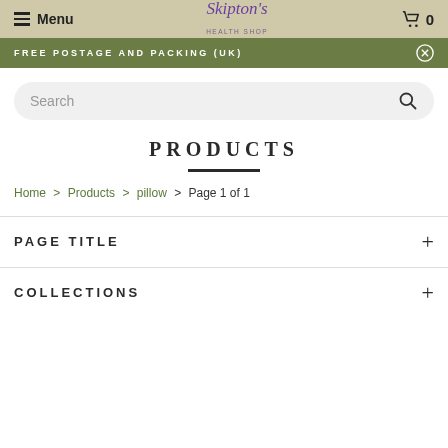Menu | Skipton's Health Shop | 0
FREE POSTAGE AND PACKING (UK)
Search
PRODUCTS
Home > Products > pillow > Page 1 of 1
PAGE TITLE
COLLECTIONS